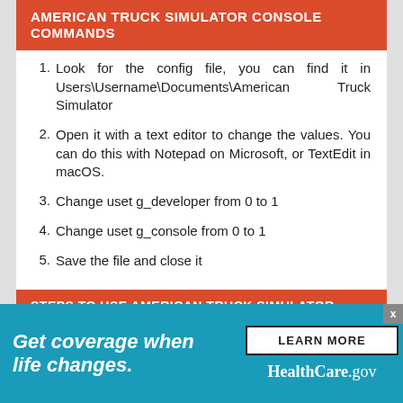AMERICAN TRUCK SIMULATOR CONSOLE COMMANDS
Look for the config file, you can find it in Users\Username\Documents\American Truck Simulator
Open it with a text editor to change the values. You can do this with Notepad on Microsoft, or TextEdit in macOS.
Change uset g_developer from 0 to 1
Change uset g_console from 0 to 1
Save the file and close it
STEPS TO USE AMERICAN TRUCK SIMULATOR CONS...
[Figure (infographic): HealthCare.gov advertisement banner with teal background. Left side shows italic bold white text 'Get coverage when life changes.' Right side has a white 'LEARN MORE' button and 'HealthCare.gov' branding in white text. A small grey close button (x) appears at top right.]